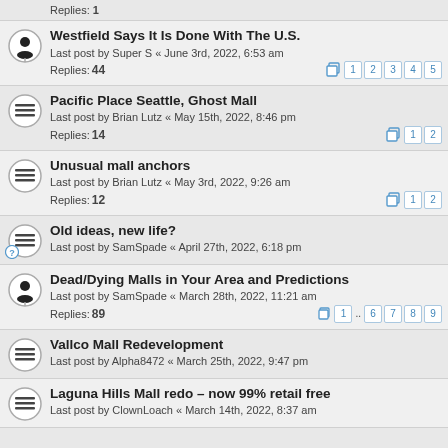Replies: 1
Westfield Says It Is Done With The U.S.
Last post by Super S « June 3rd, 2022, 6:53 am
Replies: 44
Pacific Place Seattle, Ghost Mall
Last post by Brian Lutz « May 15th, 2022, 8:46 pm
Replies: 14
Unusual mall anchors
Last post by Brian Lutz « May 3rd, 2022, 9:26 am
Replies: 12
Old ideas, new life?
Last post by SamSpade « April 27th, 2022, 6:18 pm
Dead/Dying Malls in Your Area and Predictions
Last post by SamSpade « March 28th, 2022, 11:21 am
Replies: 89
Vallco Mall Redevelopment
Last post by Alpha8472 « March 25th, 2022, 9:47 pm
Laguna Hills Mall redo – now 99% retail free
Last post by ClownLoach « March 14th, 2022, 8:37 am